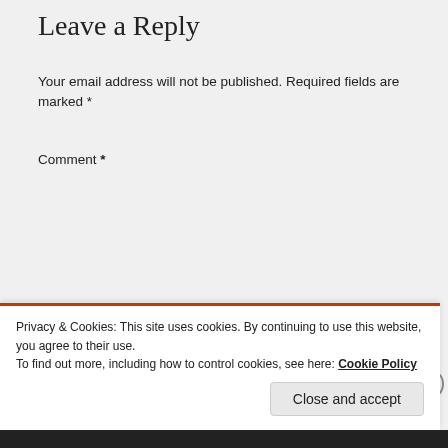Leave a Reply
Your email address will not be published. Required fields are marked *
Comment *
[Figure (screenshot): Empty comment textarea input box with resize handle]
Privacy & Cookies: This site uses cookies. By continuing to use this website, you agree to their use.
To find out more, including how to control cookies, see here: Cookie Policy
Close and accept